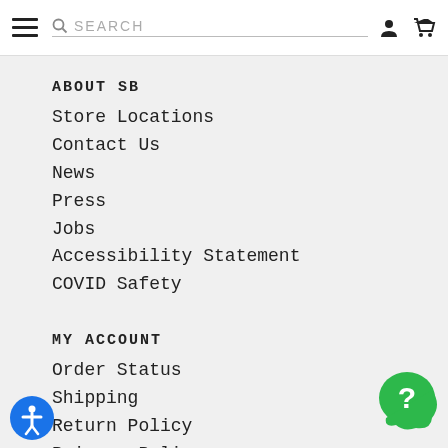SEARCH
ABOUT SB
Store Locations
Contact Us
News
Press
Jobs
Accessibility Statement
COVID Safety
MY ACCOUNT
Order Status
Shipping
Return Policy
Privacy Policy
Terms of Use